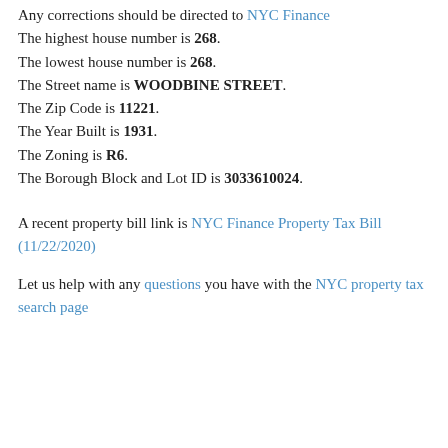Any corrections should be directed to NYC Finance
The highest house number is 268.
The lowest house number is 268.
The Street name is WOODBINE STREET.
The Zip Code is 11221.
The Year Built is 1931.
The Zoning is R6.
The Borough Block and Lot ID is 3033610024.
A recent property bill link is NYC Finance Property Tax Bill (11/22/2020)
Let us help with any questions you have with the NYC property tax search page